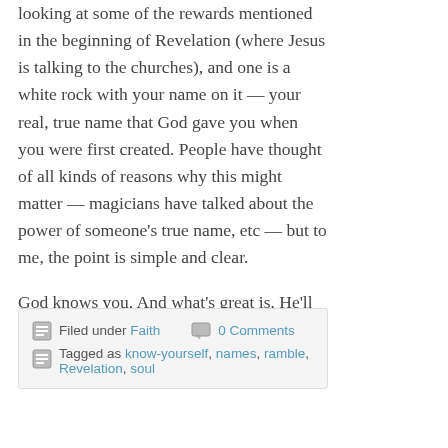looking at some of the rewards mentioned in the beginning of Revelation (where Jesus is talking to the churches), and one is a white rock with your name on it — your real, true name that God gave you when you were first created. People have thought of all kinds of reasons why this might matter — magicians have talked about the power of someone's true name, etc — but to me, the point is simple and clear.
God knows you. And what's great is, He'll help you know yourself, as you really are. How cool is that?
Filed under Faith   0 Comments
Tagged as know-yourself, names, ramble, Revelation, soul